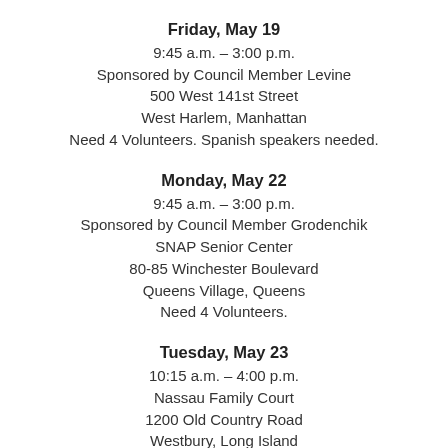Friday, May 19
9:45 a.m. – 3:00 p.m.
Sponsored by Council Member Levine
500 West 141st Street
West Harlem, Manhattan
Need 4 Volunteers. Spanish speakers needed.
Monday, May 22
9:45 a.m. – 3:00 p.m.
Sponsored by Council Member Grodenchik
SNAP Senior Center
80-85 Winchester Boulevard
Queens Village, Queens
Need 4 Volunteers.
Tuesday, May 23
10:15 a.m. – 4:00 p.m.
Nassau Family Court
1200 Old Country Road
Westbury, Long Island
Need 4 Volunteers.
Wednesday, May 24